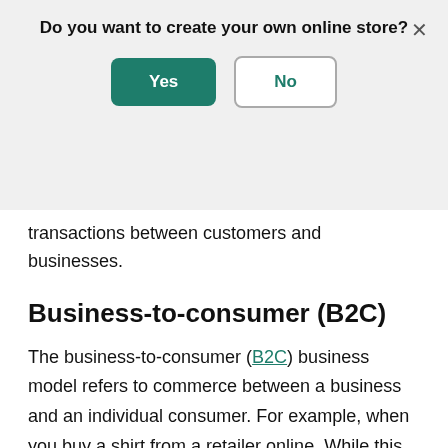[Figure (screenshot): Modal dialog asking 'Do you want to create your own online store?' with a green 'Yes' button and a white/outlined 'No' button, on a light grey background with an X close button.]
transactions between customers and businesses.
Business-to-consumer (B2C)
The business-to-consumer (B2C) business model refers to commerce between a business and an individual consumer. For example, when you buy a shirt from a retailer online. While this includes brick-and-mortar business, it's also become associated with ecommerce, or